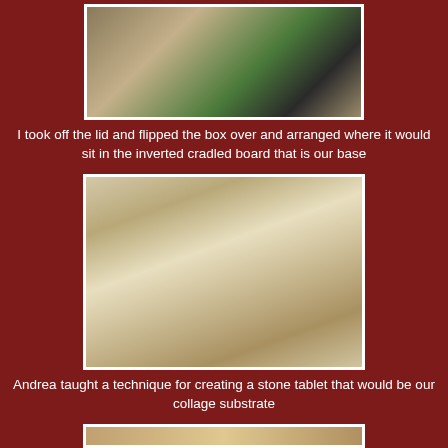[Figure (photo): Workshop scene showing a decorative box with ornate lid and craft supplies on a cutting mat]
I took off the lid and flipped the box over and arranged where it would sit in the inverted cradled board that is our base
[Figure (photo): A box flipped upside down sitting inside an inverted cradled board (wooden frame), with a white stone tablet-like slab on top]
Andrea taught a technique for creating a stone tablet that would be our collage substrate
[Figure (photo): Partial view of another photo at the bottom of the page]